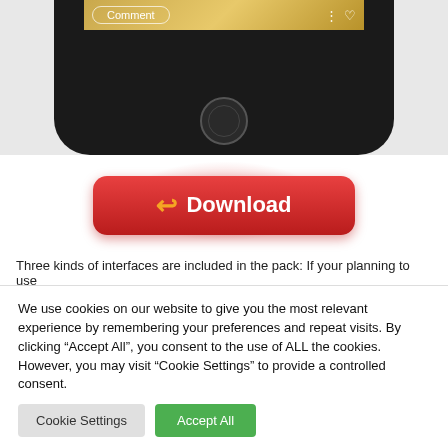[Figure (screenshot): Bottom portion of a smartphone (iPhone-style) showing a golden app interface with a Comment button, three-dot menu, heart icon, and a circular home button below the screen. Background is light gray.]
[Figure (illustration): Red rounded Download button with an orange arrow/replay icon and bold white text 'Download', with a red radial glow effect behind it on a white background.]
Three kinds of interfaces are included in the pack: If your planning to use
We use cookies on our website to give you the most relevant experience by remembering your preferences and repeat visits. By clicking “Accept All”, you consent to the use of ALL the cookies. However, you may visit “Cookie Settings” to provide a controlled consent.
Cookie Settings
Accept All